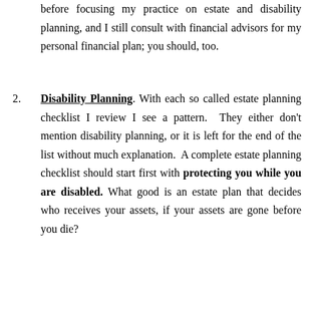before focusing my practice on estate and disability planning, and I still consult with financial advisors for my personal financial plan; you should, too.
2. Disability Planning. With each so called estate planning checklist I review I see a pattern. They either don't mention disability planning, or it is left for the end of the list without much explanation. A complete estate planning checklist should start first with protecting you while you are disabled. What good is an estate plan that decides who receives your assets, if your assets are gone before you die?